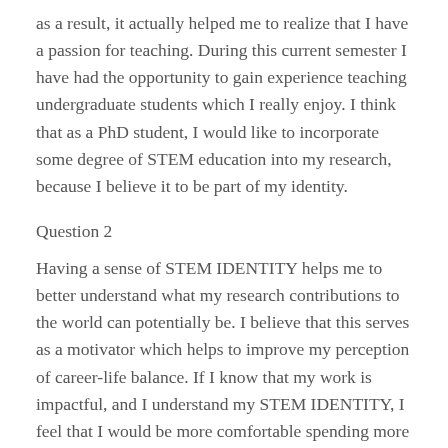as a result, it actually helped me to realize that I have a passion for teaching. During this current semester I have had the opportunity to gain experience teaching undergraduate students which I really enjoy. I think that as a PhD student, I would like to incorporate some degree of STEM education into my research, because I believe it to be part of my identity.
Question 2
Having a sense of STEM IDENTITY helps me to better understand what my research contributions to the world can potentially be. I believe that this serves as a motivator which helps to improve my perception of career-life balance. If I know that my work is impactful, and I understand my STEM IDENTITY, I feel that I would be more comfortable spending more of my time working. To me at least, its not really “working” if you love what